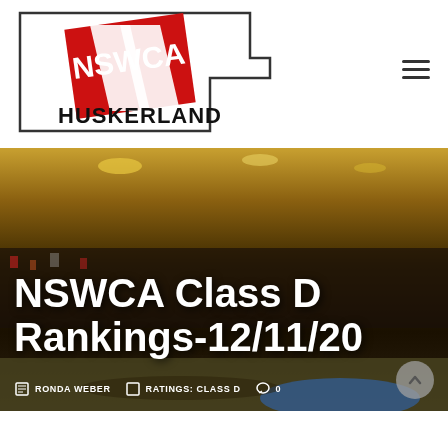[Figure (logo): NSWCA Huskerland logo — Nebraska state outline with red diagonal NSWCA logo and HUSKERLAND text below]
NSWCA Class D Rankings-12/11/20
RONDA WEBER   RATINGS: CLASS D   0